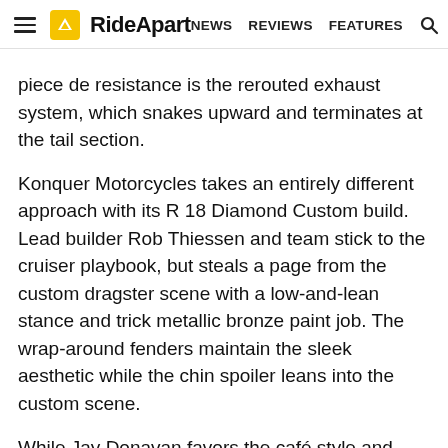RideApart — NEWS  REVIEWS  FEATURES
piece de resistance is the rerouted exhaust system, which snakes upward and terminates at the tail section.
Konquer Motorcycles takes an entirely different approach with its R 18 Diamond Custom build. Lead builder Rob Thiessen and team stick to the cruiser playbook, but steals a page from the custom dragster scene with a low-and-lean stance and trick metallic bronze paint job. The wrap-around fenders maintain the sleek aesthetic while the chin spoiler leans into the custom scene.
While Jay Donavan favors the café style and Rob Thiessen counters with a stretched-out custom, Nick Acosta of Augment Motorworks opts for an alternative route R 18 Tattooed Chopper. The Canadian